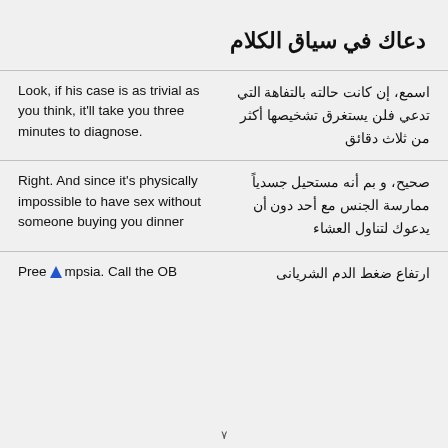دعاك في سياق الكلام
اسمع، إن كانت حالته بالتفاهة التي تدعي فلن يستغرق تشخيصها أكثر من ثلاث دقائق | Look, if his case is as trivial as you think, it'll take you three minutes to diagnose.
صحيح، و بم أنه مستحيل جسدياً ممارسة الجنس مع أحد دون أن يدعوك لتناول العشاء | Right. And since it's physically impossible to have sex without someone buying you dinner
ارتفاع ضغط الدم الشريانى | Preeeclampsia. Call the OB
٧